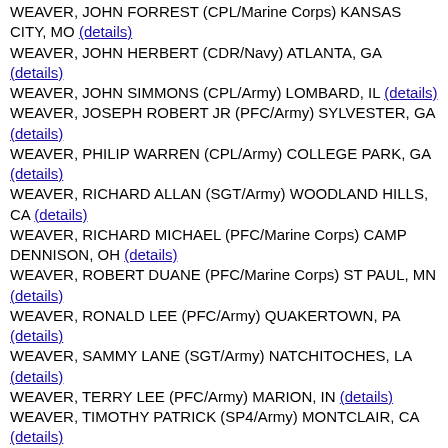WEAVER, JOHN FORREST (CPL/Marine Corps) KANSAS CITY, MO (details)
WEAVER, JOHN HERBERT (CDR/Navy) ATLANTA, GA (details)
WEAVER, JOHN SIMMONS (CPL/Army) LOMBARD, IL (details)
WEAVER, JOSEPH ROBERT JR (PFC/Army) SYLVESTER, GA (details)
WEAVER, PHILIP WARREN (CPL/Army) COLLEGE PARK, GA (details)
WEAVER, RICHARD ALLAN (SGT/Army) WOODLAND HILLS, CA (details)
WEAVER, RICHARD MICHAEL (PFC/Marine Corps) CAMP DENNISON, OH (details)
WEAVER, ROBERT DUANE (PFC/Marine Corps) ST PAUL, MN (details)
WEAVER, RONALD LEE (PFC/Army) QUAKERTOWN, PA (details)
WEAVER, SAMMY LANE (SGT/Army) NATCHITOCHES, LA (details)
WEAVER, TERRY LEE (PFC/Army) MARION, IN (details)
WEAVER, TIMOTHY PATRICK (SP4/Army) MONTCLAIR, CA (details)
WEAVER, WILLIAM CARRELL (SFC/Army) HARLINGEN, TX (details)